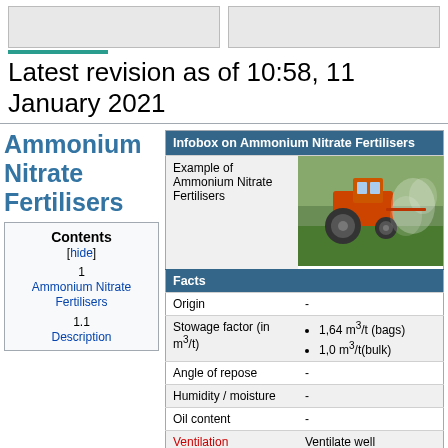[Figure (illustration): Two placeholder image boxes at the top of the page]
Latest revision as of 10:58, 11 January 2021
Ammonium Nitrate Fertilisers
| Infobox on Ammonium Nitrate Fertilisers |
| --- |
| Example of Ammonium Nitrate Fertilisers | [photo of tractor spraying field] |
| Facts |  |
| Origin | - |
| Stowage factor (in m3/t) | 1,64 m3/t (bags)
1,0 m3/t(bulk) |
| Angle of repose | - |
| Humidity / moisture | - |
| Oil content | - |
| Ventilation | Ventilate well |
| Risk factor |  |
Contents
[hide]
1 Ammonium Nitrate Fertilisers
1.1 Description